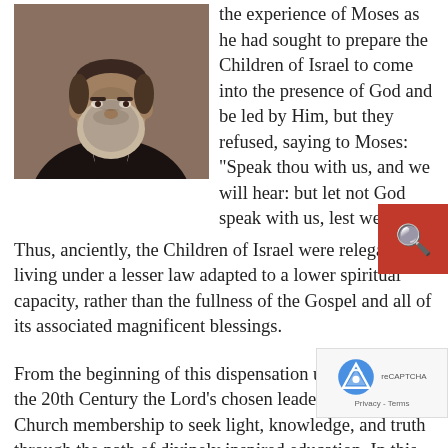[Figure (photo): Black and white portrait photograph of an elderly bearded man in dark clothing, seated.]
the experience of Moses as he had sought to prepare the Children of Israel to come into the presence of God and be led by Him, but they refused, saying to Moses: “Speak thou with us, and we will hear: but let not God speak with us, lest we die”.6
Thus, anciently, the Children of Israel were relegated to living under a lesser law adapted to a lower spiritual capacity, rather than the fullness of the Gospel and all of its associated magnificent blessings.
From the beginning of this dispensation until early in the 20th Century the Lord’s chosen leaders pled with the Church membership to seek light, knowledge, and truth through the path of divinely inspired education. In this book, Jack Monnett painstakingly and systematically documents the